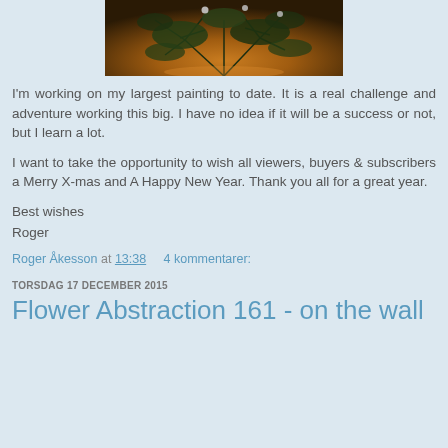[Figure (photo): Partial photo of a Christmas tree with warm amber/golden lighting, showing branches and ornaments from below]
I'm working on my largest painting to date. It is a real challenge and adventure working this big. I have no idea if it will be a success or not, but I learn a lot.
I want to take the opportunity to wish all viewers, buyers & subscribers a Merry X-mas and A Happy New Year. Thank you all for a great year.
Best wishes
Roger
Roger Åkesson at 13:38   4 kommentarer:
TORSDAG 17 DECEMBER 2015
Flower Abstraction 161 - on the wall